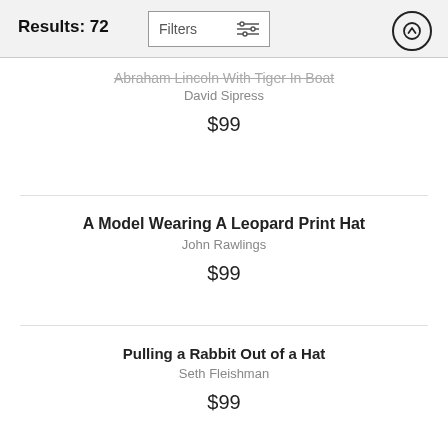Results: 72  Filters  ↑
Abraham Lincoln With Tiger In Boat
David Sipress
$99
A Model Wearing A Leopard Print Hat
John Rawlings
$99
Pulling a Rabbit Out of a Hat
Seth Fleishman
$99